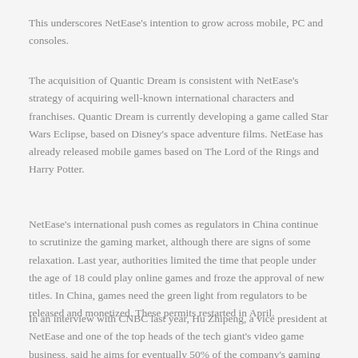This underscores NetEase's intention to grow across mobile, PC and consoles.
The acquisition of Quantic Dream is consistent with NetEase's strategy of acquiring well-known international characters and franchises. Quantic Dream is currently developing a game called Star Wars Eclipse, based on Disney's space adventure films. NetEase has already released mobile games based on The Lord of the Rings and Harry Potter.
NetEase's international push comes as regulators in China continue to scrutinize the gaming market, although there are signs of some relaxation. Last year, authorities limited the time that people under the age of 18 could play online games and froze the approval of new titles. In China, games need the green light from regulators to be released and monetized. These permits restarted in April.
In an interview with CNBC last year, Hu Zhipeng, a vice president at NetEase and one of the top heads of the tech giant's video game business, said he aims for eventually 50% of the company's gaming revenue to come from